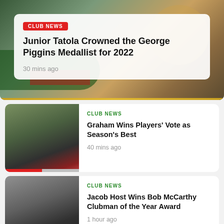[Figure (photo): Hero image of sports player holding trophy, background with red and green club colors]
CLUB NEWS
Junior Tatola Crowned the George Piggins Medallist for 2022
30 mins ago
[Figure (photo): Rugby league player running with ball in red and green jersey]
CLUB NEWS
Graham Wins Players' Vote as Season's Best
40 mins ago
[Figure (photo): Jacob Host smiling in dark jacket, another person in background]
CLUB NEWS
Jacob Host Wins Bob McCarthy Clubman of the Year Award
1 hour ago